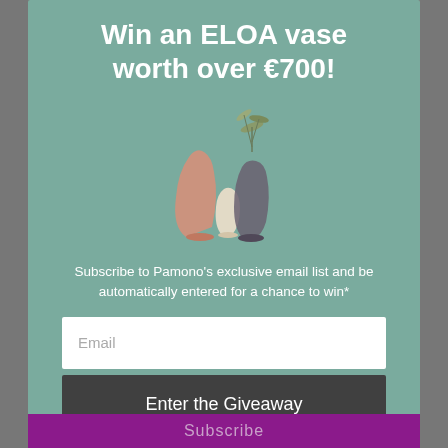Win an ELOA vase worth over €700!
[Figure (illustration): Three decorative ELOA vases of different sizes and colors — a peach/salmon teardrop-shaped vase, a smaller white/cream egg-shaped vase, and a taller dark smoky glass vase with green plant stems, arranged together on a teal background]
Subscribe to Pamono's exclusive email list and be automatically entered for a chance to win*
Email
Enter the Giveaway
*Please read our terms and conditions here
Subscribe